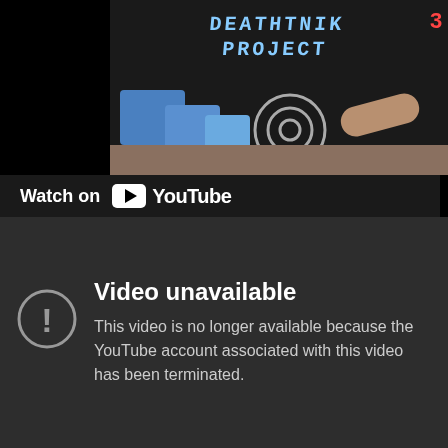[Figure (screenshot): YouTube video thumbnail showing a stylized animated scene with blue geometric shapes, a target/bullseye, and desert background. Text at top reads project-related title in stylized font. Red number badge visible top right.]
Watch on YouTube
Video unavailable
This video is no longer available because the YouTube account associated with this video has been terminated.